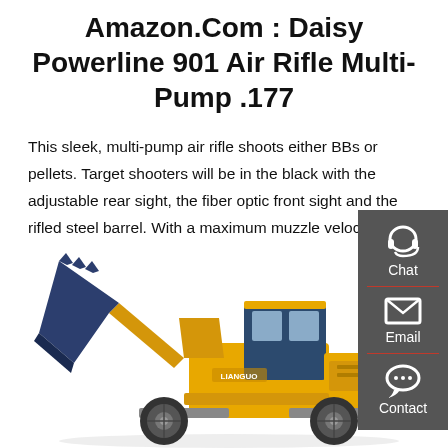Amazon.Com : Daisy Powerline 901 Air Rifle Multi-Pump .177
This sleek, multi-pump air rifle shoots either BBs or pellets. Target shooters will be in the black with the adjustable rear sight, the fiber optic front sight and the rifled steel barrel. With a maximum muzzle velocity of 800 fps and a dovetail feature for mounting optics, …
Get a quote
[Figure (photo): Yellow front-end wheel loader (construction vehicle) with a large blue/dark bucket raised, viewed from the side/front angle.]
[Figure (infographic): Dark gray sidebar with Chat (headset icon), Email (envelope icon), and Contact (speech bubble with dots icon) buttons, with red dividers between sections.]